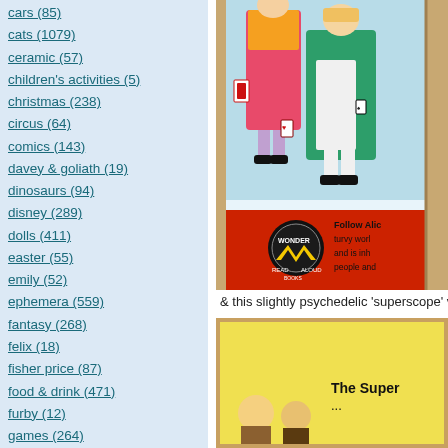cars (85)
cats (1079)
ceramic (57)
children's activities (5)
christmas (238)
circus (64)
comics (143)
davey & goliath (19)
dinosaurs (94)
disney (289)
dolls (411)
easter (55)
emily (52)
ephemera (559)
fantasy (268)
felix (18)
fisher price (87)
food & drink (471)
furby (12)
games (264)
georgie (12)
ghosts (263)
golden magazine (98)
gumby (243)
halloween (332)
hats (29)
[Figure (photo): Alice in Wonderland book cover showing Alice and the Queen of Hearts with playing card soldiers, Wonder Books Read Aloud edition. Red strip at the bottom with Wonder Books logo.]
& this slightly psychedelic 'superscope' v
[Figure (photo): Yellow background image showing The Super... (partially visible)]